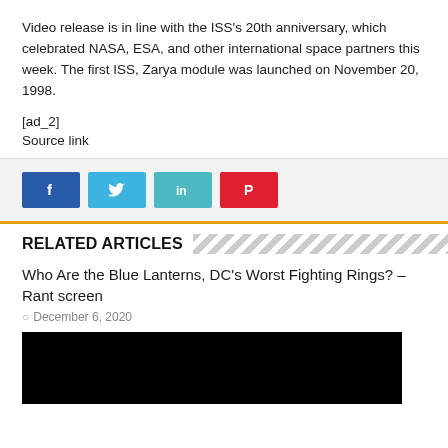Video release is in line with the ISS's 20th anniversary, which celebrated NASA, ESA, and other international space partners this week. The first ISS, Zarya module was launched on November 20, 1998.
[ad_2]
Source link
[Figure (infographic): Social share buttons: Facebook (blue), Twitter (light blue), LinkedIn (teal), Pinterest (red)]
RELATED ARTICLES
Who Are the Blue Lanterns, DC's Worst Fighting Rings? – Rant screen
December 6, 2020
[Figure (photo): Black image placeholder for related article thumbnail]